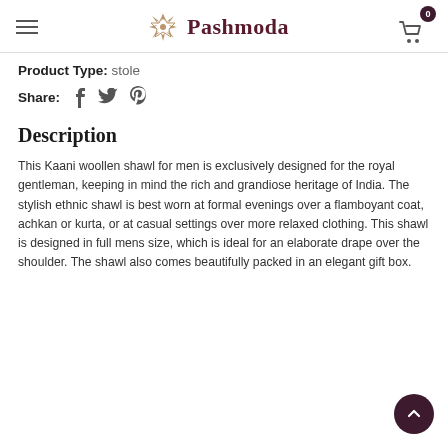Pashmoda
Product Type: stole
Share: [facebook] [twitter] [pinterest]
Description
This Kaani woollen shawl for men is exclusively designed for the royal gentleman, keeping in mind the rich and grandiose heritage of India. The stylish ethnic shawl is best worn at formal evenings over a flamboyant coat, achkan or kurta, or at casual settings over more relaxed clothing. This shawl is designed in full mens size, which is ideal for an elaborate drape over the shoulder. The shawl also comes beautifully packed in an elegant gift box.